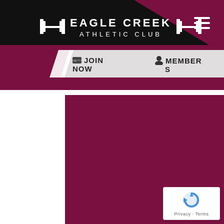[Figure (logo): Eagle Creek Athletic Club logo with barbell icon, white text on black background with maroon triangle in top-right corner]
JOIN NOW
MEMBERS
[Figure (illustration): Large maroon background content area]
[Figure (other): Google reCAPTCHA badge with Privacy and Terms text]